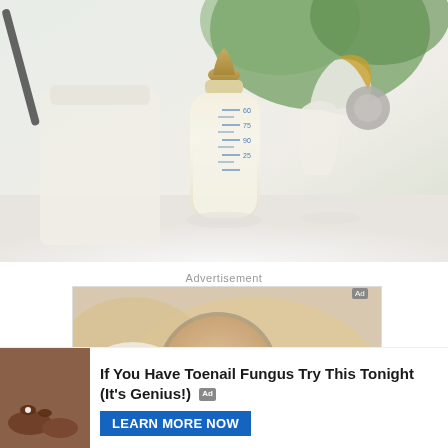[Figure (photo): Baby bottle with measurement markings filled with milk, and a breast pump funnel/shield beside it, on a white surface with blurred green plant background]
Advertisement
[Figure (photo): Close-up of toenail fungus being examined with a magnifying glass by a person wearing white gloves — advertisement image]
[Figure (photo): Bottom ad bar thumbnail showing dark-skinned feet with white dot on toenail]
If You Have Toenail Fungus Try This Tonight (It's Genius!)
LEARN MORE NOW